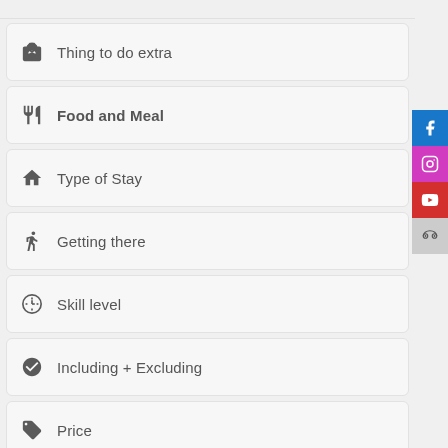Thing to do extra
Food and Meal
Type of Stay
Getting there
Skill level
Including + Excluding
Price